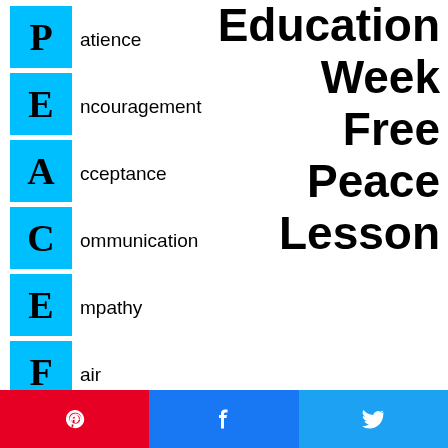[Figure (infographic): PEACE acronym infographic with cyan blue letter boxes on the left spelling P-E-A-C-E-F, each followed by the rest of the word. Right side shows stacked words: Education Week Free Peace Lesson]
[Figure (infographic): Social sharing buttons at bottom: Pinterest (red), Facebook (blue), Twitter (light blue)]